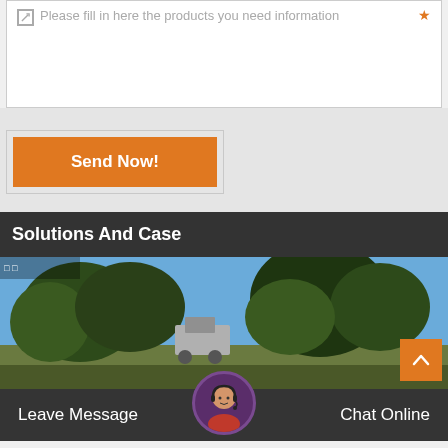Please fill in here the products you need information
Send Now!
Solutions And Case
[Figure (photo): Outdoor landscape photo showing trees and what appears to be a vehicle or machinery in the background with blue sky]
Leave Message
Chat Online